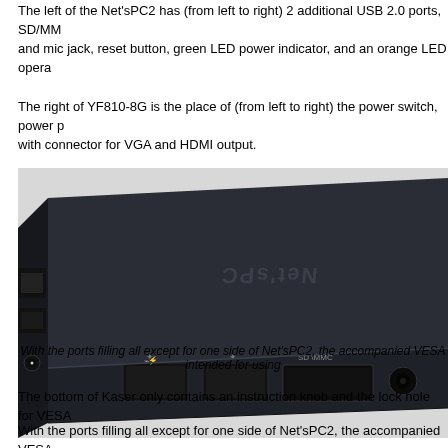The left of the Net'sPC2 has (from left to right) 2 additional USB 2.0 ports, SD/MMC and mic jack, reset button, green LED power indicator, and an orange LED opera...
The right of YF810-8G is the place of (from left to right) the power switch, power p... with connector for VGA and HDMI output.
[Figure (photo): Photo of the Net'sPC2 mini PC device showing the front/left side with two USB 2.0 ports labeled with USB symbols, an SD/MMC card slot, and a headphone/mic jack. The top of the dark gray device shows the Net'sPC branding text in reverse perspective. The left side shows ethernet and other connectors.]
With the ports filling all except for one side of Net'sPC2, the accompanied VESA intended for using
The bottom of Kaser only contains an instruction knob and the lock hole for VESA...
With the ports filling all except for one side of Net'sPC2, the accompanied VESA...